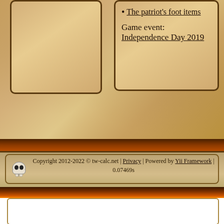The patriot's foot items
Game event: Independence Day 2019
Copyright 2012-2022 © tw-calc.net | Privacy | Powered by Yii Framework | 0.07469s